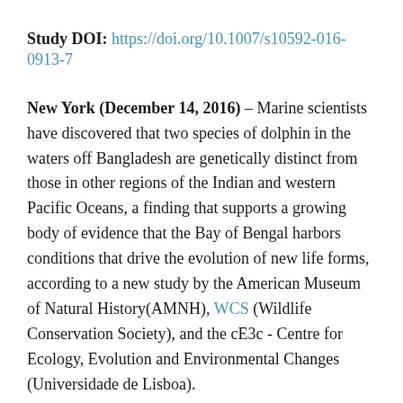Study DOI: https://doi.org/10.1007/s10592-016-0913-7
New York (December 14, 2016) – Marine scientists have discovered that two species of dolphin in the waters off Bangladesh are genetically distinct from those in other regions of the Indian and western Pacific Oceans, a finding that supports a growing body of evidence that the Bay of Bengal harbors conditions that drive the evolution of new life forms, according to a new study by the American Museum of Natural History(AMNH), WCS (Wildlife Conservation Society), and the cE3c - Centre for Ecology, Evolution and Environmental Changes (Universidade de Lisboa).